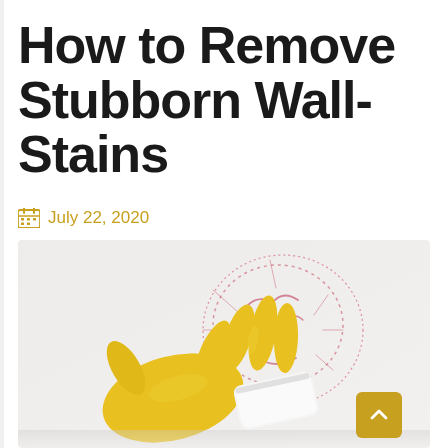How to Remove Stubborn Wall-Stains
July 22, 2020
[Figure (photo): A gloved hand in yellow rubber glove holding a white sponge, cleaning crayon or marker drawings off a white wall]